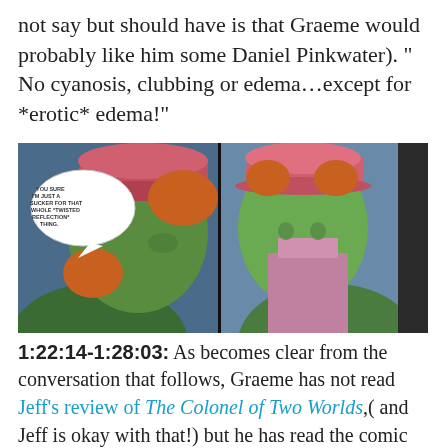not say but should have is that Graeme would probably like him some Daniel Pinkwater). " No cyanosis, clubbing or edema…except for *erotic* edema!"
[Figure (photo): Comic book panel showing a green-skinned superhero character in a pink/red hat looking at his reflection in a mirror. A speech bubble reads: 'YOU SURE I'M JUST A SUCKER FOR THAT WHOLE TWISTED REFLECTION THING.']
1:22:14-1:28:03:  As becomes clear from the conversation that follows, Graeme has not read Jeff's review of The Colonel of Two Worlds,( and Jeff is okay with that!) but he has read the comic itself, so the duo are able to discuss that very fun and strange freebie comic. Discussed: the importance of unjustified ridiculousness,  the new sincerity and the new irony." This area was mildly